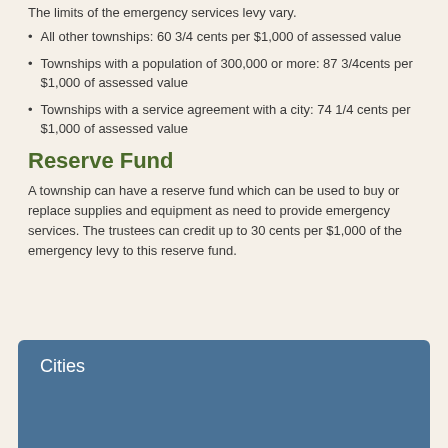The limits of the emergency services levy vary.
All other townships: 60 3/4 cents per $1,000 of assessed value
Townships with a population of 300,000 or more: 87 3/4cents per $1,000 of assessed value
Townships with a service agreement with a city: 74 1/4 cents per $1,000 of assessed value
Reserve Fund
A township can have a reserve fund which can be used to buy or replace supplies and equipment as need to provide emergency services. The trustees can credit up to 30 cents per $1,000 of the emergency levy to this reserve fund.
Cities